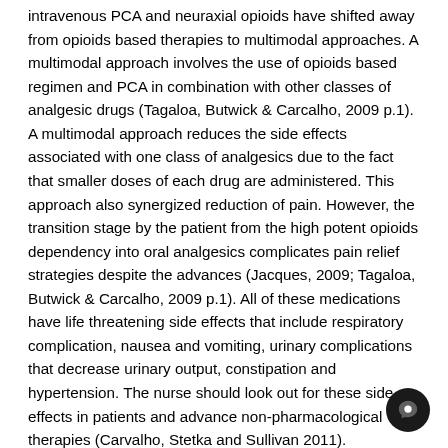intravenous PCA and neuraxial opioids have shifted away from opioids based therapies to multimodal approaches. A multimodal approach involves the use of opioids based regimen and PCA in combination with other classes of analgesic drugs (Tagaloa, Butwick & Carcalho, 2009 p.1). A multimodal approach reduces the side effects associated with one class of analgesics due to the fact that smaller doses of each drug are administered. This approach also synergized reduction of pain. However, the transition stage by the patient from the high potent opioids dependency into oral analgesics complicates pain relief strategies despite the advances (Jacques, 2009; Tagaloa, Butwick & Carcalho, 2009 p.1). All of these medications have life threatening side effects that include respiratory complication, nausea and vomiting, urinary complications that decrease urinary output, constipation and hypertension. The nurse should look out for these side effects in patients and advance non-pharmacological therapies (Carvalho, Stetka and Sullivan 2011). Complimentary therapies such as foot and hand massages, music and guided imagery can be applied (Good 2001 p. 61 -70; Khoshtarash, 2012). The non-pharmacological therapies can be conducted independently by the nurse without the need to consult.